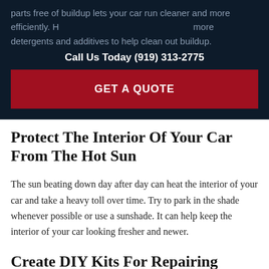parts free of buildup lets your car run cleaner and more efficiently. Higher quality gas tends to contain more detergents and additives to help clean out buildup.
Call Us Today (919) 313-2775
GET A QUOTE
Protect The Interior Of Your Car From The Hot Sun
The sun beating down day after day can heat the interior of your car and take a heavy toll over time. Try to park in the shade whenever possible or use a sunshade. It can help keep the interior of your car looking fresher and newer.
Create DIY Kits For Repairing From...